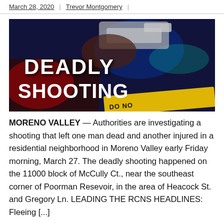March 28, 2020 | Trevor Montgomery |
[Figure (photo): News graphic with dark background showing a hand holding a pistol and police crime scene tape, with large bold white text reading DEADLY SHOOTING]
MORENO VALLEY — Authorities are investigating a shooting that left one man dead and another injured in a residential neighborhood in Moreno Valley early Friday morning, March 27. The deadly shooting happened on the 11000 block of McCully Ct., near the southeast corner of Poorman Resevoir, in the area of Heacock St. and Gregory Ln. LEADING THE RCNS HEADLINES: Fleeing [...]